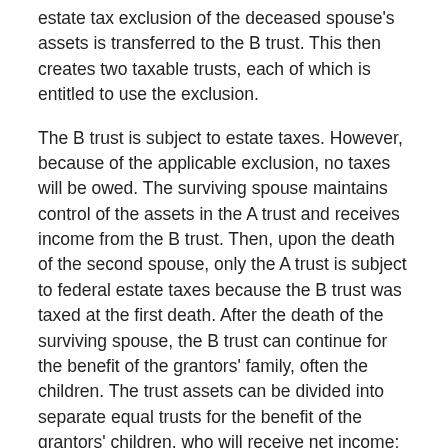estate tax exclusion of the deceased spouse's assets is transferred to the B trust. This then creates two taxable trusts, each of which is entitled to use the exclusion.
The B trust is subject to estate taxes. However, because of the applicable exclusion, no taxes will be owed. The surviving spouse maintains control of the assets in the A trust and receives income from the B trust. Then, upon the death of the second spouse, only the A trust is subject to federal estate taxes because the B trust was taxed at the first death. After the death of the surviving spouse, the B trust can continue for the benefit of the grantors' family, often the children. The trust assets can be divided into separate equal trusts for the benefit of the grantors' children, who will receive net income; and then, at some specified age, they will receive the principal.
There are many considerations involved with A-B trusts, including upfront costs and administrative